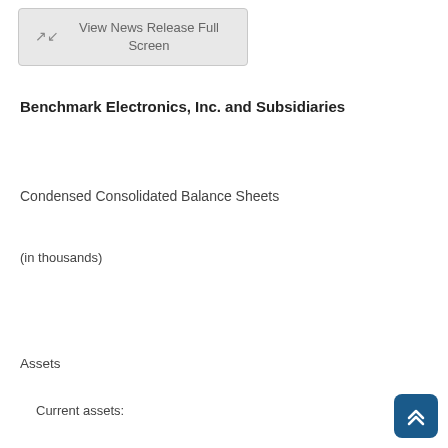[Figure (screenshot): Button labeled 'View News Release Full Screen' with expand arrows icon, styled as a rounded rectangle button in light gray]
Benchmark Electronics, Inc. and Subsidiaries
Condensed Consolidated Balance Sheets
(in thousands)
Assets
Current assets:
[Figure (other): Scroll-to-top button: rounded blue square with double upward chevron arrows in white]